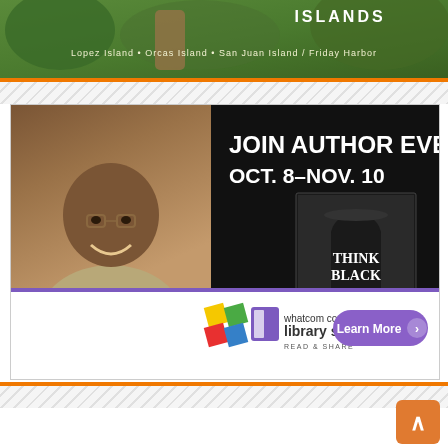[Figure (illustration): San Juan Islands travel banner showing a person outdoors with text 'ISLANDS', 'Lopez Island • Orcas Island • San Juan Island / Friday Harbor']
[Figure (infographic): Whatcom County Library System advertisement: 'JOIN AUTHOR EVENTS OCT. 8–NOV. 10', showing author Clyde W. Ford smiling, book cover 'THINK BLACK', Whatcom County Library System logo with 'READ & SHARE', and a purple 'Learn More' button]